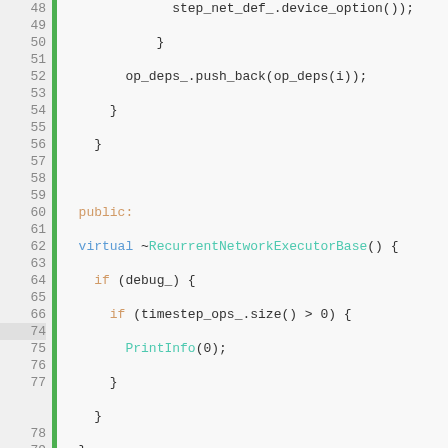[Figure (screenshot): Source code viewer showing C++ code for a RecurrentNetworkExecutorBase class, lines 48-84, with line numbers on left, green gutter bar, and syntax highlighting.]